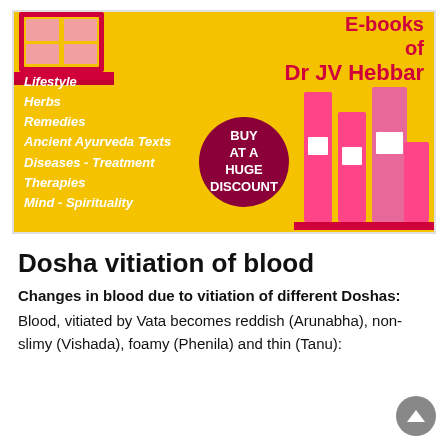[Figure (illustration): Promotional banner with yellow background showing Ayurveda E-books of Dr JV Hebbar. Lists categories: Lifestyle, Herbs, Remedies, Ancient Ayurveda Texts, Diseases-Treatment, Therapies, Mind-Spirituality. Dark red circular badge says BUY AT A HUGE DISCOUNT. Book illustrations on right side.]
Dosha vitiation of blood
Changes in blood due to vitiation of different Doshas:
Blood, vitiated by Vata becomes reddish (Arunabha), non-slimy (Vishada), foamy (Phenila) and thin (Tanu):